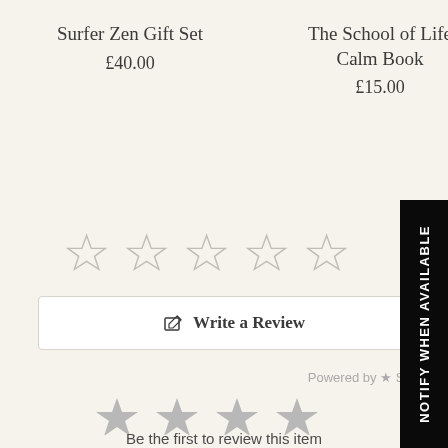Surfer Zen Gift Set
£40.00
The School of Life Calm Book
£15.00
[Figure (other): Five empty star rating icons (outline stars) in a row]
Write a Review
Powered by STA
[Figure (other): Four filled grey star rating icons in a row]
Be the first to review this item
NOTIFY WHEN AVAILABLE